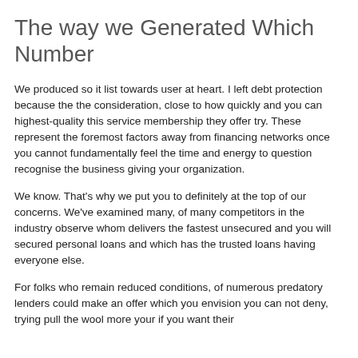The way we Generated Which Number
We produced so it list towards user at heart. I left debt protection because the the consideration, close to how quickly and you can highest-quality this service membership they offer try. These represent the foremost factors away from financing networks once you cannot fundamentally feel the time and energy to question recognise the business giving your organization.
We know. That's why we put you to definitely at the top of our concerns. We've examined many, of many competitors in the industry observe whom delivers the fastest unsecured and you will secured personal loans and which has the trusted loans having everyone else.
For folks who remain reduced conditions, of numerous predatory lenders could make an offer which you envision you can not deny, trying pull the wool more your if you want their